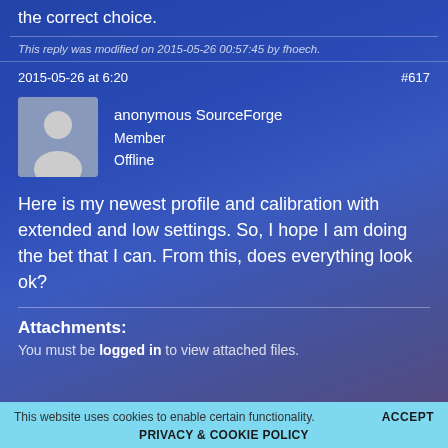the correct choice.
This reply was modified on 2015-05-26 00:57:45 by fhoech.
2015-05-26 at 6:20
#617
[Figure (illustration): Anonymous user avatar placeholder - grey silhouette of a person on a slightly lighter grey background]
anonymous SourceForge
Member
Offline
Here is my newest profile and calibration with extended and low settings. So, I hope I am doing the bet that I can. From this, does everything look ok?
Attachments:
You must be logged in to view attached files.
This website uses cookies to enable certain functionality.
ACCEPT
PRIVACY & COOKIE POLICY